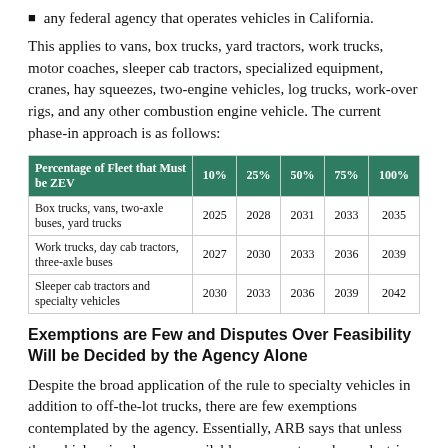any federal agency that operates vehicles in California.
This applies to vans, box trucks, yard tractors, work trucks, motor coaches, sleeper cab tractors, specialized equipment, cranes, hay squeezes, two-engine vehicles, log trucks, work-over rigs, and any other combustion engine vehicle. The current phase-in approach is as follows:
| Percentage of Fleet that Must be ZEV | 10% | 25% | 50% | 75% | 100% |
| --- | --- | --- | --- | --- | --- |
| Box trucks, vans, two-axle buses, yard trucks | 2025 | 2028 | 2031 | 2033 | 2035 |
| Work trucks, day cab tractors, three-axle buses | 2027 | 2030 | 2033 | 2036 | 2039 |
| Sleeper cab tractors and specialty vehicles | 2030 | 2033 | 2036 | 2039 | 2042 |
Exemptions are Few and Disputes Over Feasibility Will be Decided by the Agency Alone
Despite the broad application of the rule to specialty vehicles in addition to off-the-lot trucks, there are few exemptions contemplated by the agency. Essentially, ARB says that unless the vehicles simply are unavailable, you must purchase electric. In response to questions, the agency stated that it plans to